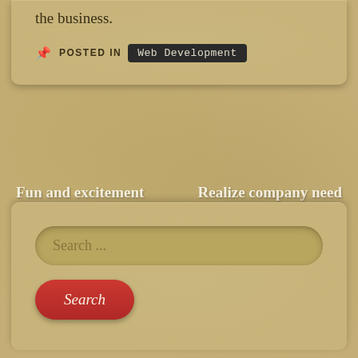the business.
POSTED IN Web Development
Fun and excitement with Mobile Games
Realize company need vpn service for their online website
[Figure (screenshot): Search box with text field showing 'Search ...' placeholder and a red Search button]